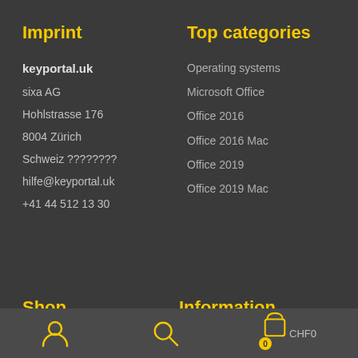Imprint
keyportal.uk
sixa AG
Hohlstrasse 176
8004 Zürich
Schweiz ????????
hilfe@keyportal.uk
+41 44 512 13 30
Top categories
Operating systems
Microsoft Office
Office 2016
Office 2016 Mac
Office 2019
Office 2019 Mac
Shop
Information
CHF0